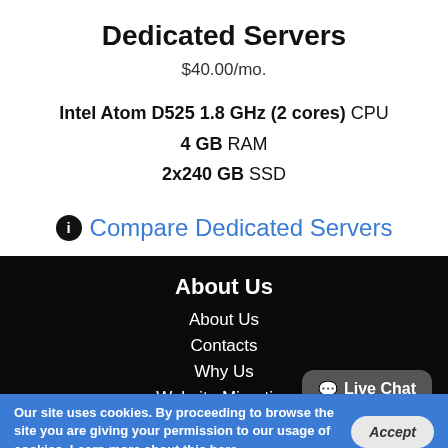Dedicated Servers
$40.00/mo.
Intel Atom D525 1.8 GHz (2 cores) CPU
4 GB RAM
2x240 GB SSD
Compare Dedicated Servers
About Us
About Us
Contacts
Why Us
Website Migration
Hosting Platform
Live Chat
Our site uses cookies. By proceeding to browse the site you are giving your permission to our usage of cookies. Learn more about this here.